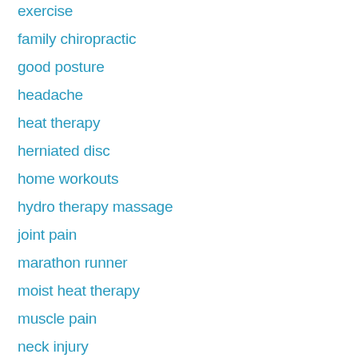exercise
family chiropractic
good posture
headache
heat therapy
herniated disc
home workouts
hydro therapy massage
joint pain
marathon runner
moist heat therapy
muscle pain
neck injury